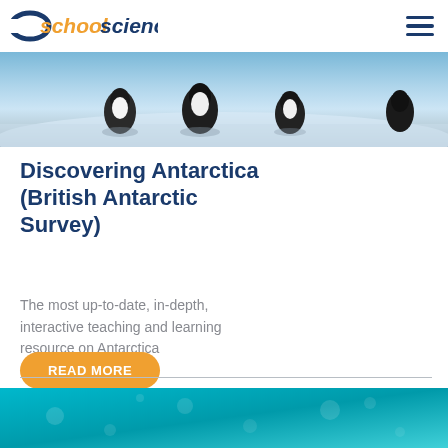schoolscience
[Figure (photo): Penguins on snow and ice in Antarctica, close-up view from above showing dark penguin bodies against white snow]
Discovering Antarctica (British Antarctic Survey)
The most up-to-date, in-depth, interactive teaching and learning resource on Antarctica
READ MORE
[Figure (photo): Teal/turquoise underwater or water surface photo with light bubbles and bokeh effects]